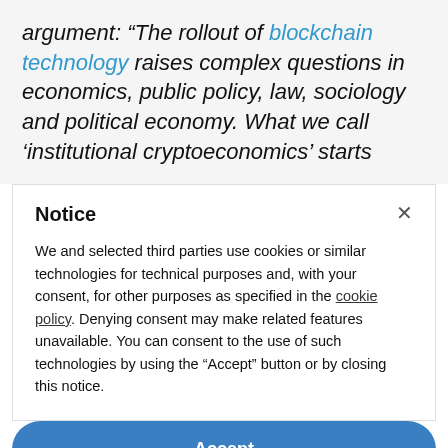argument: “The rollout of blockchain technology raises complex questions in economics, public policy, law, sociology and political economy. What we call ‘institutional cryptoeconomics’ starts
Notice
We and selected third parties use cookies or similar technologies for technical purposes and, with your consent, for other purposes as specified in the cookie policy. Denying consent may make related features unavailable. You can consent to the use of such technologies by using the “Accept” button or by closing this notice.
Accept
Learn more and customise